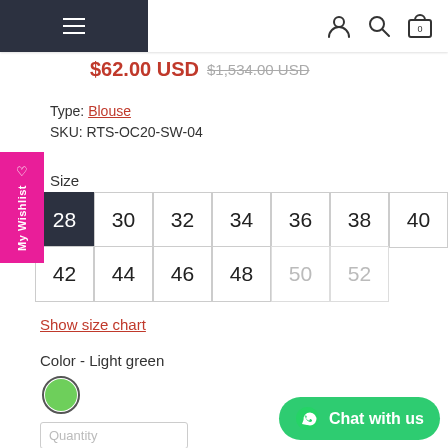Navigation bar with hamburger menu, user icon, search icon, and cart icon (0)
$62.00 USD $1,534.00 USD (strikethrough)
Type: Blouse
SKU: RTS-OC20-SW-04
Size
28 30 32 34 36 38 40 42 44 46 48 50 52
Show size chart
Color - Light green
Quantity
Chat with us